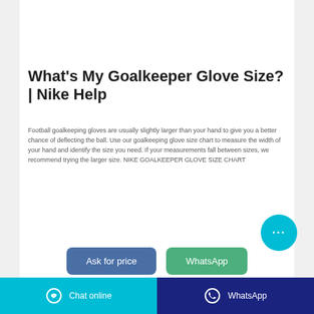[Figure (photo): Close-up photo of blue/purple goalkeeper gloves on dark background]
What's My Goalkeeper Glove Size? | Nike Help
Football goalkeeping gloves are usually slightly larger than your hand to give you a better chance of deflecting the ball. Use our goalkeeping glove size chart to measure the width of your hand and identify the size you need. If your measurements fall between sizes, we recommend trying the larger size. NIKE GOALKEEPER GLOVE SIZE CHART
[Figure (other): Cyan circular chat bubble button with ellipsis (...)]
Ask for price
WhatsApp
Chat online | WhatsApp